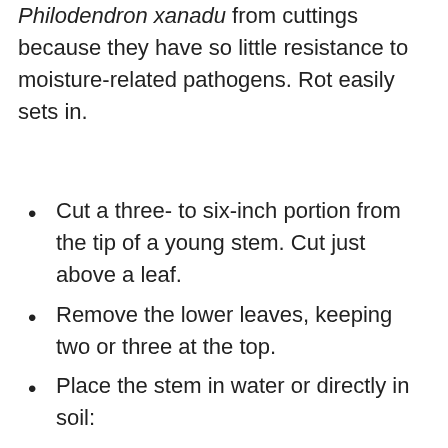It's more difficult to propagate your Philodendron xanadu from cuttings because they have so little resistance to moisture-related pathogens. Rot easily sets in.
Cut a three- to six-inch portion from the tip of a young stem. Cut just above a leaf.
Remove the lower leaves, keeping two or three at the top.
Place the stem in water or directly in soil:
If using water, change the water consistently to keep it as fresh as possible and help stave off decay